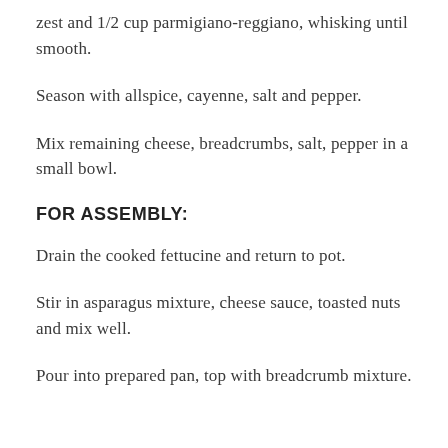zest and 1/2 cup parmigiano-reggiano, whisking until smooth.
Season with allspice, cayenne, salt and pepper.
Mix remaining cheese, breadcrumbs, salt, pepper in a small bowl.
FOR ASSEMBLY:
Drain the cooked fettucine and return to pot.
Stir in asparagus mixture, cheese sauce, toasted nuts and mix well.
Pour into prepared pan, top with breadcrumb mixture.